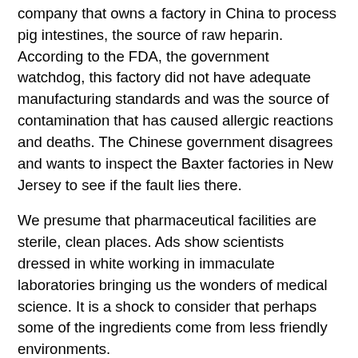company that owns a factory in China to process pig intestines, the source of raw heparin. According to the FDA, the government watchdog, this factory did not have adequate manufacturing standards and was the source of contamination that has caused allergic reactions and deaths. The Chinese government disagrees and wants to inspect the Baxter factories in New Jersey to see if the fault lies there.
We presume that pharmaceutical facilities are sterile, clean places. Ads show scientists dressed in white working in immaculate laboratories bringing us the wonders of medical science. It is a shock to consider that perhaps some of the ingredients come from less friendly environments.
These same revelations have been made in the food industry. Whether the food chain is at risk because of machine lubricants that contaminate food in processing plants or because a restaurant doesn't